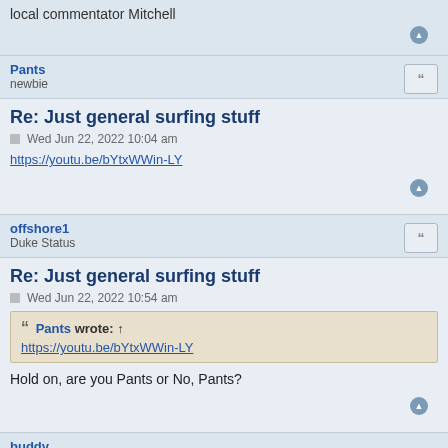local commentator Mitchell
Pants
newbie
Re: Just general surfing stuff
Wed Jun 22, 2022 10:04 am
https://youtu.be/bYtxWWin-LY
offshore1
Duke Status
Re: Just general surfing stuff
Wed Jun 22, 2022 10:54 am
Pants wrote: ↑
https://youtu.be/bYtxWWin-LY
Hold on, are you Pants or No, Pants?
buddy